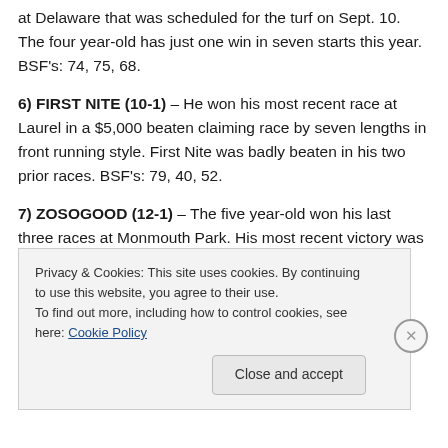at Delaware that was scheduled for the turf on Sept. 10. The four year-old has just one win in seven starts this year.  BSF's: 74, 75, 68.
6) FIRST NITE (10-1) – He won his most recent race at Laurel in a $5,000 beaten claiming race by seven lengths in front running style. First Nite was badly beaten in his two prior races. BSF's: 79, 40, 52.
7) ZOSOGOOD (12-1) – The five year-old won his last three races at Monmouth Park. His most recent victory was a $10,000 N2Y claimer in front running fashion. The
Privacy & Cookies: This site uses cookies. By continuing to use this website, you agree to their use.
To find out more, including how to control cookies, see here: Cookie Policy